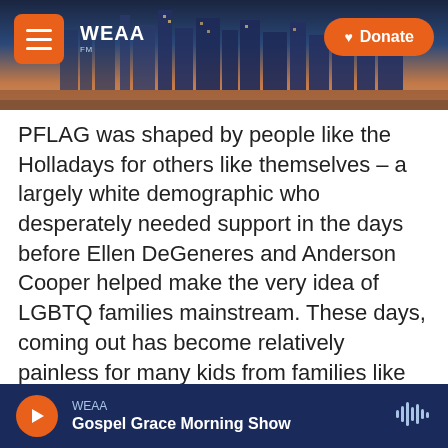[Figure (screenshot): WEAA radio website header banner with city skyline background, hamburger menu button, WEAA logo, and orange Donate button]
PFLAG was shaped by people like the Holladays for others like themselves – a largely white demographic who desperately needed support in the days before Ellen DeGeneres and Anderson Cooper helped make the very idea of LGBTQ families mainstream. These days, coming out has become relatively painless for many kids from families like theirs. But it was not easy for Devin Green, a child of immigrants who grew up in Charlotte, N.C.
"It was very nerve-racking," the 19-year-old says of
[Figure (screenshot): WEAA audio player bar at bottom showing orange play button, station name WEAA, show title Gospel Grace Morning Show, and waveform icon]